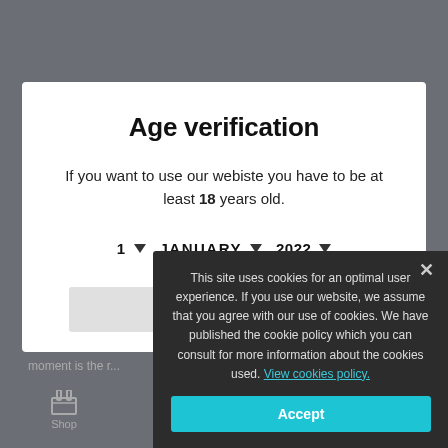Age verification
If you want to use our webiste you have to be at least 18 years old.
1 ▾   JANUARY ▾   2022 ▾
Please...
moment is the r...
Shop
This site uses cookies for an optimal user experience. If you use our website, we assume that you agree with our use of cookies. We have published the cookie policy which you can consult for more information about the cookies used. View cookies policy.
Accept